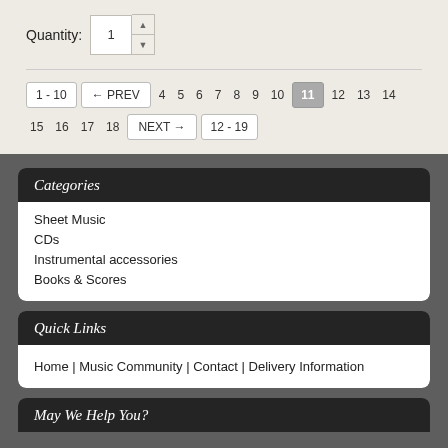Quantity: 1
1 - 10
← PREV
4 5 6 7 8 9 10 11 12 13 14 15 16 17 18
NEXT →
12 - 19
Categories
Sheet Music
CDs
Instrumental accessories
Books & Scores
Quick Links
Home | Music Community | Contact | Delivery Information
May We Help You?